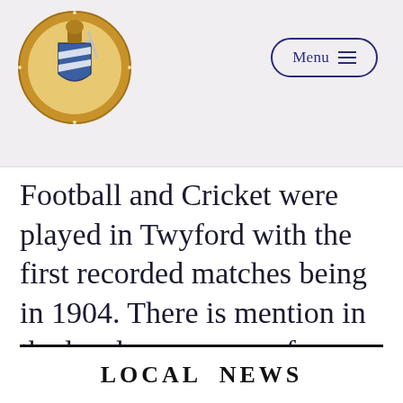[Figure (logo): Twystory circular badge/crest logo showing a knight in armour holding a sword, with a blue and white striped shield, gold coin-style border with text TWYSTORY around the edge]
Football and Cricket were played in Twyford with the first recorded matches being in 1904. There is mention in the local newspaper of a cricket match between Twyford and Marsh Gibbon in 1876.
[Figure (screenshot): Bottom portion of a newspaper clipping showing the heading LOCAL NEWS in bold capital letters]